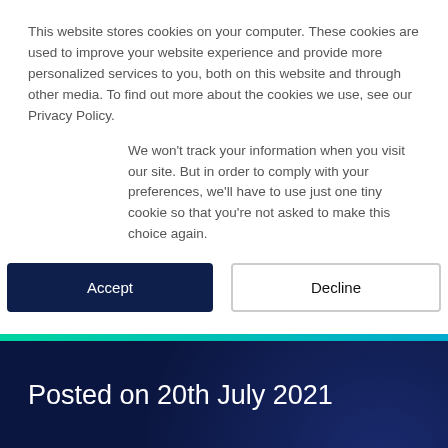This website stores cookies on your computer. These cookies are used to improve your website experience and provide more personalized services to you, both on this website and through other media. To find out more about the cookies we use, see our Privacy Policy.
We won't track your information when you visit our site. But in order to comply with your preferences, we'll have to use just one tiny cookie so that you're not asked to make this choice again.
Accept | Decline (buttons)
Posted on 20th July 2021
🏠 | Insights | News | Ex-Aviva Simon Candy joins INSTANDA to boost Life and Health proposition